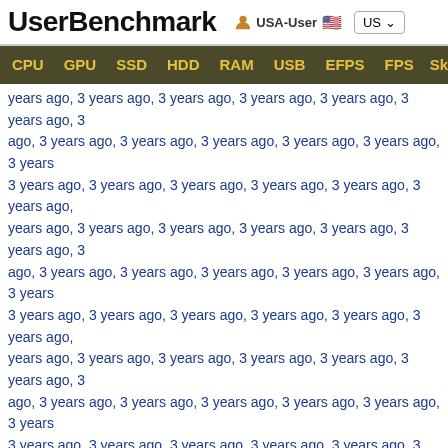UserBenchmark  USA-User  US
CPU  GPU  SSD  HDD  RAM  USB  EFPS  FPS  Sk
years ago, 3 years ago, 3 years ago, 3 years ago, 3 years ago, 3 years ago, 3 ago, 3 years ago, 3 years ago, 3 years ago, 3 years ago, 3 years ago, 3 years 3 years ago, 3 years ago, 3 years ago, 3 years ago, 3 years ago, 3 years ago, years ago, 3 years ago, 3 years ago, 3 years ago, 3 years ago, 3 years ago, 3 ago, 3 years ago, 3 years ago, 3 years ago, 3 years ago, 3 years ago, 3 years 3 years ago, 3 years ago, 3 years ago, 3 years ago, 3 years ago, 3 years ago, years ago, 3 years ago, 3 years ago, 3 years ago, 3 years ago, 3 years ago, 3 ago, 3 years ago, 3 years ago, 3 years ago, 3 years ago, 3 years ago, 3 years 3 years ago, 3 years ago, 3 years ago, 3 years ago, 3 years ago, 3 years ago, years ago, 3 years ago, 3 years ago, 3 years ago, 3 years ago, 3 years ago, 3 ago, 3 years ago, 3 years ago, 3 years ago, 3 years ago, 3 years ago, 3 years 3 years ago, 3 years ago, 3 years ago, 3 years ago, 3 years ago, 3 years ago, years ago, 3 years ago, 3 years ago, 3 years ago, 3 years ago, 3 years ago, 3 ago, 3 years ago, 3 years ago, 3 years ago, 3 years ago, 3 years ago, 3 years 3 years ago, 3 years ago, 3 years ago, 3 years ago, 3 years ago, 3 years ago, years ago, 3 years ago, 3 years ago, 3 years ago, 3 years ago, 3 years ago, 3 ago, 3 years ago, 3 years ago, 3 years ago, 3 years ago, 3 years ago, 3 years 3 years ago, 3 years ago, 3 years ago, 3 years ago, 3 years ago, 3 years ago, years ago, 3 years ago, 3 years ago, 3 years ago, 3 years ago, 3 years ago, 3 ago, 3 years ago, 3 years ago, 3 years ago, 3 years ago, 3 years ago, 3 years 3 years ago, 3 years ago, 3 years ago, 3 years ago, 3 years ago, 2 years ago, years ago, 2 years ago, 2 years ago, 2 years ago, 2 years ago, 2 years ago, 2